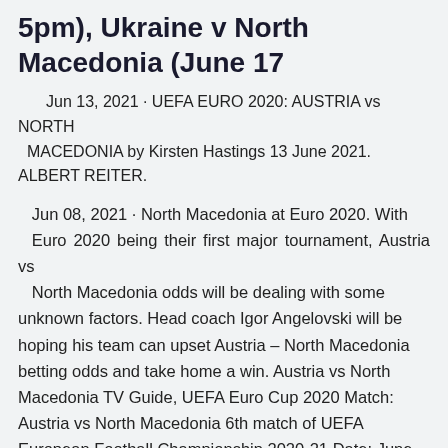5pm), Ukraine v North Macedonia (June 17
Jun 13, 2021 · UEFA EURO 2020: AUSTRIA vs NORTH MACEDONIA by Kirsten Hastings 13 June 2021. ALBERT REITER.
Jun 08, 2021 · North Macedonia at Euro 2020. With Euro 2020 being their first major tournament, Austria vs North Macedonia odds will be dealing with some unknown factors. Head coach Igor Angelovski will be hoping his team can upset Austria – North Macedonia betting odds and take home a win. Austria vs North Macedonia TV Guide, UEFA Euro Cup 2020 Match: Austria vs North Macedonia 6th match of UEFA European Football Championship 2020-21 Date: June 13, 2021 UEFA Euro Cup 2020 TV Guide, UEFA European Football Championship 2021 UEFA Euro 2020